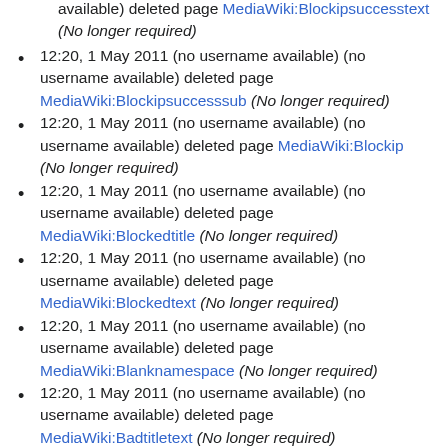available) deleted page MediaWiki:Blockipsuccesstext (No longer required)
12:20, 1 May 2011 (no username available) (no username available) deleted page MediaWiki:Blockipsuccesssub (No longer required)
12:20, 1 May 2011 (no username available) (no username available) deleted page MediaWiki:Blockip (No longer required)
12:20, 1 May 2011 (no username available) (no username available) deleted page MediaWiki:Blockedtitle (No longer required)
12:20, 1 May 2011 (no username available) (no username available) deleted page MediaWiki:Blockedtext (No longer required)
12:20, 1 May 2011 (no username available) (no username available) deleted page MediaWiki:Blanknamespace (No longer required)
12:20, 1 May 2011 (no username available) (no username available) deleted page MediaWiki:Badtitletext (No longer required)